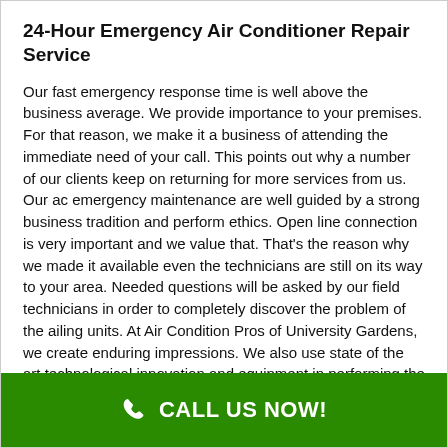24-Hour Emergency Air Conditioner Repair Service
Our fast emergency response time is well above the business average. We provide importance to your premises. For that reason, we make it a business of attending the immediate need of your call. This points out why a number of our clients keep on returning for more services from us. Our ac emergency maintenance are well guided by a strong business tradition and perform ethics. Open line connection is very important and we value that. That's the reason why we made it available even the technicians are still on its way to your area. Needed questions will be asked by our field technicians in order to completely discover the problem of the ailing units. At Air Condition Pros of University Gardens, we create enduring impressions. We also use state of the art technological innovation and equipment in performing the ac repairs getting our
CALL US NOW!